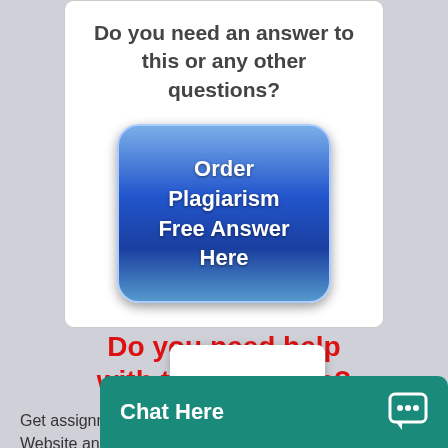Do you need an answer to this or any other questions?
[Figure (illustration): Blue rounded button with text 'Order Plagiarism Free Answer Here']
Do you need help with this question?
Get assignments from WriteEdu.com - Best Writing Website and forget about your problems.
WriteEdu provides the best essay writing...
[Figure (illustration): White dialog overlay with three dots (ellipsis loading indicator)]
[Figure (illustration): Teal chat bar at bottom with 'Chat Here' text and chat icon]